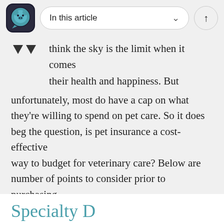In this article
think the sky is the limit when it comes their health and happiness. But unfortunately, most do have a cap on what they're willing to spend on pet care. So it does beg the question, is pet insurance a cost-effective way to budget for veterinary care? Below are number of points to consider prior to purchasing coverage:
Specialty D...